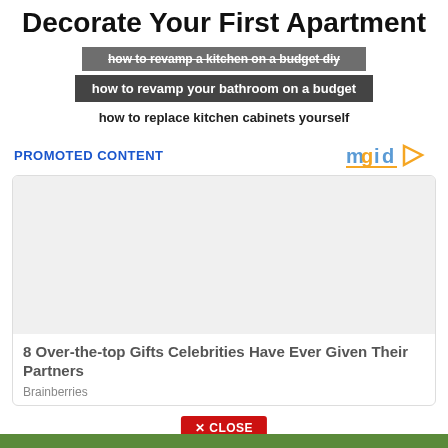Decorate Your First Apartment
how to revamp a kitchen on a budget diy
how to revamp your bathroom on a budget
how to replace kitchen cabinets yourself
PROMOTED CONTENT
[Figure (logo): mgid logo with blue text and orange/teal play button icon]
[Figure (photo): Promoted content card image area (blank/grey)]
8 Over-the-top Gifts Celebrities Have Ever Given Their Partners
Brainberries
✕ CLOSE